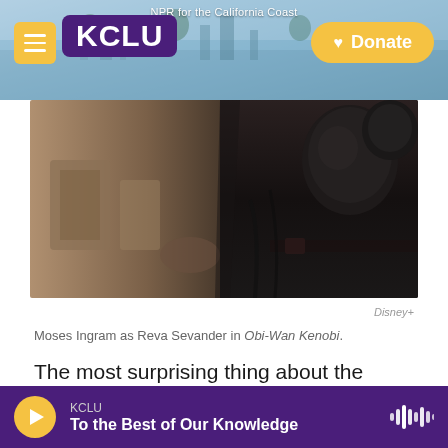NPR for the California Coast — KCLU — Donate
[Figure (photo): Moses Ingram as Reva Sevander in Obi-Wan Kenobi, a figure in dark armor against a blurred background]
Disney+
Moses Ingram as Reva Sevander in Obi-Wan Kenobi.
The most surprising thing about the racism directed at Obi-Wan Kenobi star Moses Ingram is the fact that some people are still surprised by it.
This is Moses Ingram on IG, speaking
KCLU — To the Best of Our Knowledge